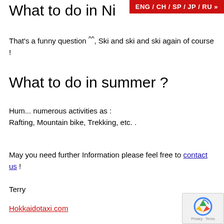ENG / CH / SP / JP / RU »
What to do in Ni
That's a funny question ^^, Ski and ski and ski again of course !
What to do in summer ?
Hum... numerous activities as :
Rafting, Mountain bike, Trekking, etc. .
May you need further Information please feel free to contact us !
Terry
Hokkaidotaxi.com